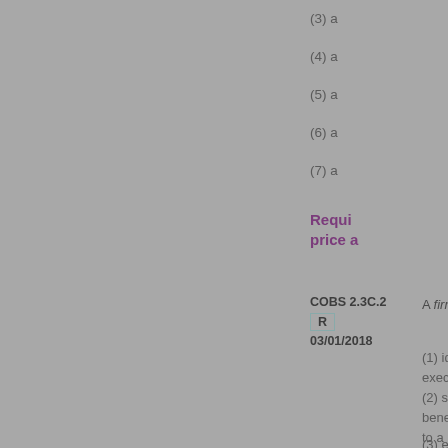(3) a
(4) a
(5) a
(6) a
(7) a
Requirements relating to price a
COBS 2.3C.2
R
03/01/2018
A firm p
(1) id exec
(2) s bene to a
(3) e